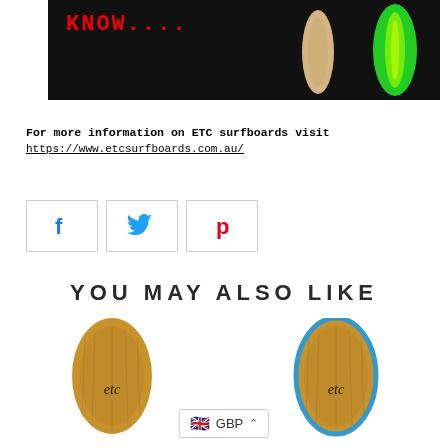[Figure (photo): Black background photo showing text 'KNOW....' in red with surfboards - one natural wood colored and one bright green, standing upright]
For more information on ETC surfboards visit
https://www.etcsurfboards.com.au/
[Figure (other): Social media share buttons row: Facebook (blue f icon), Twitter (blue bird icon), Pinterest (red P icon), each in a bordered box]
YOU MAY ALSO LIKE
[Figure (photo): Two product images of ETC surfboards with bamboo wood top surface and 'etc' branding, shown side by side. A currency selector badge showing GBP with UK flag is overlaid at the bottom center.]